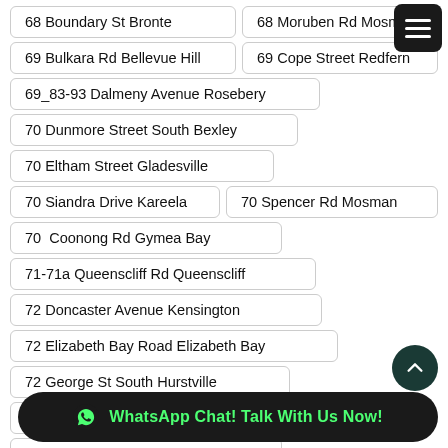68 Boundary St Bronte
68 Moruben Rd Mosman
69 Bulkara Rd Bellevue Hill
69 Cope Street Redfern
69_83-93 Dalmeny Avenue Rosebery
70 Dunmore Street South Bexley
70 Eltham Street Gladesville
70 Siandra Drive Kareela
70 Spencer Rd Mosman
70  Coonong Rd Gymea Bay
71-71a Queenscliff Rd Queenscliff
72 Doncaster Avenue Kensington
72 Elizabeth Bay Road Elizabeth Bay
72 George St South Hurstville
73...
73 Dalrymple Avenue Chatswood